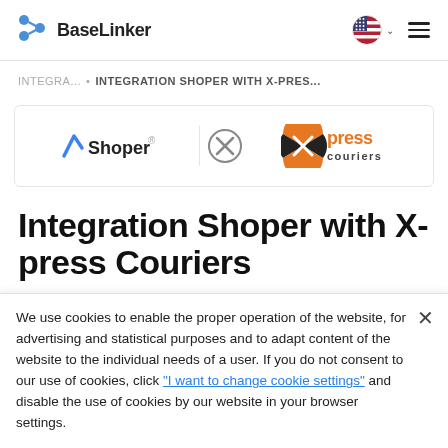BaseLinker
INTEGRA... • INTEGRATION SHOPER WITH X-PRES...
[Figure (logo): Shoper logo on the left, X circle connector in the middle, Xpress Couriers logo on the right, inside a bordered box]
Integration Shoper with X-press Couriers
We use cookies to enable the proper operation of the website, for advertising and statistical purposes and to adapt content of the website to the individual needs of a user. If you do not consent to our use of cookies, click "I want to change cookie settings" and disable the use of cookies by our website in your browser settings.